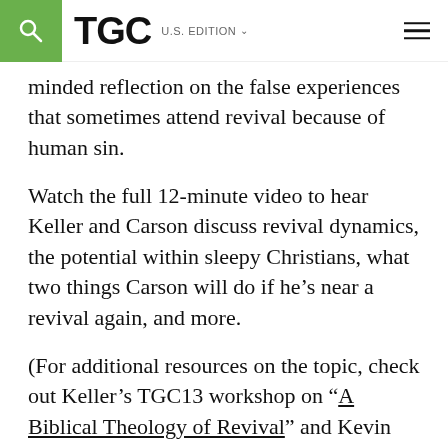TGC U.S. EDITION
minded reflection on the false experiences that sometimes attend revival because of human sin.
Watch the full 12-minute video to hear Keller and Carson discuss revival dynamics, the potential within sleepy Christians, what two things Carson will do if he’s near a revival again, and more.
(For additional resources on the topic, check out Keller’s TGC13 workshop on “A Biblical Theology of Revival” and Kevin DeYoung, Bryan Chapell, and Rick Phillips’s roundtable